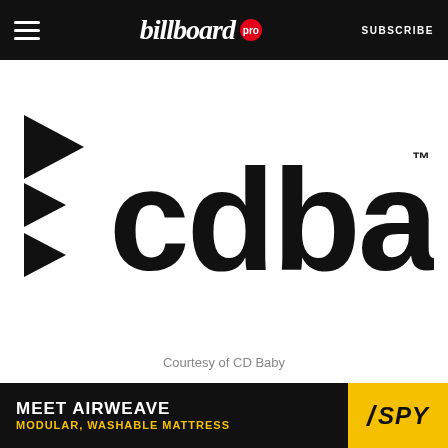billboard pro  SUBSCRIBE
[Figure (logo): CD Baby logo — black arrows/triangles icon on left, bold black 'cdbaby' wordmark with trademark symbol on right, on white background]
Courtesy of CD Baby
[Figure (infographic): Advertisement banner: 'MEET AIRWEAVE MODULAR, WASHABLE MATTRESS' with SPY logo on yellow background]